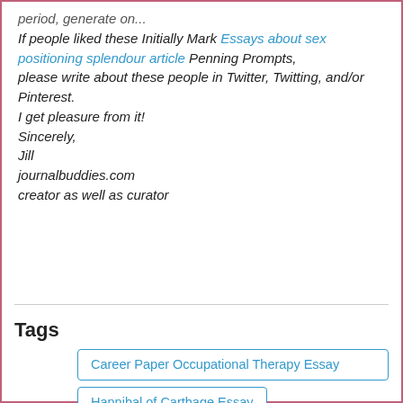period, generate on...
If people liked these Initially Mark Essays about sex positioning splendour article Penning Prompts,
please write about these people in Twitter, Twitting, and/or Pinterest.
I get pleasure from it!
Sincerely,
Jill
journalbuddies.com
creator as well as curator
Tags
Career Paper Occupational Therapy Essay
Hannibal of Carthage Essay